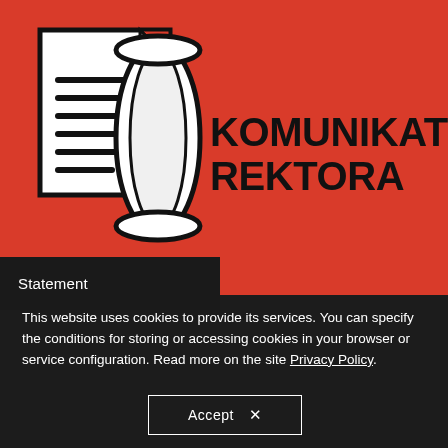[Figure (illustration): Red background banner with a document/scroll icon on the left and bold text 'KOMUNIKAT REKTORA' on the right. Below the banner is a dark strip with the word 'Statement'.]
This website uses cookies to provide its services. You can specify the conditions for storing or accessing cookies in your browser or service configuration. Read more on the site Privacy Policy.
Accept ×